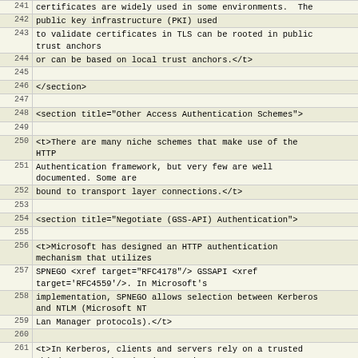| Line | Content |
| --- | --- |
| 241 | certificates are widely used in some environments.  The |
| 242 | public key infrastructure (PKI) used |
| 243 | to validate certificates in TLS can be rooted in public trust anchors |
| 244 | or can be based on local trust anchors.</t> |
| 245 |  |
| 246 | </section> |
| 247 |  |
| 248 | <section title="Other Access Authentication Schemes"> |
| 249 |  |
| 250 | <t>There are many niche schemes that make use of the HTTP |
| 251 | Authentication framework, but very few are well documented. Some are |
| 252 | bound to transport layer connections.</t> |
| 253 |  |
| 254 | <section title="Negotiate (GSS-API) Authentication"> |
| 255 |  |
| 256 | <t>Microsoft has designed an HTTP authentication mechanism that utilizes |
| 257 | SPNEGO <xref target="RFC4178"/> GSSAPI <xref target='RFC4559'/>. In Microsoft's |
| 258 | implementation, SPNEGO allows selection between Kerberos and NTLM (Microsoft NT |
| 259 | Lan Manager protocols).</t> |
| 260 |  |
| 261 | <t>In Kerberos, clients and servers rely on a trusted third-party authentication service |
| 262 | which maintains its own authentication database. Kerberos is typically used with shared |
| 263 | secret key cryptography, but extensions for use of other authentication mechnanisms such |
| 264 | as PKIX certificates and two-factor tokens are also common. |